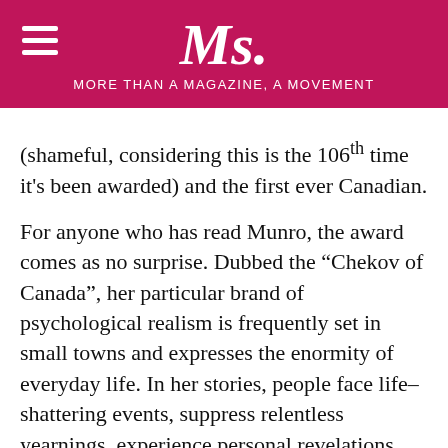Ms. MORE THAN A MAGAZINE, A MOVEMENT
(shameful, considering this is the 106th time it’s been awarded) and the first ever Canadian.
For anyone who has read Munro, the award comes as no surprise. Dubbed the “Chekov of Canada”, her particular brand of psychological realism is frequently set in small towns and expresses the enormity of everyday life. In her stories, people face life–shattering events, suppress relentless yearnings, experience personal revelations, and are haunted by their memories. For the right reader, a Munro story can be life-changing.
Munro should be honored not just for her immense talent, but for the stereotype-busting